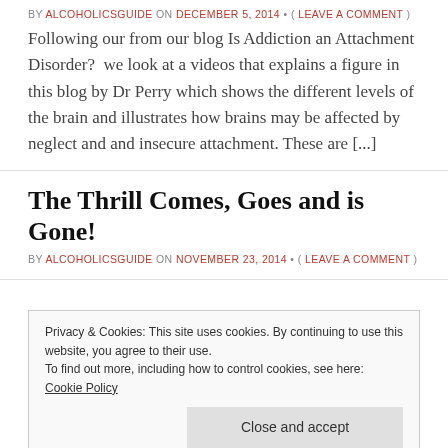BY ALCOHOLICSGUIDE ON DECEMBER 5, 2014 • ( LEAVE A COMMENT )
Following our from our blog Is Addiction an Attachment Disorder?  we look at a videos that explains a figure in this blog by Dr Perry which shows the different levels of the brain and illustrates how brains may be affected by neglect and and insecure attachment. These are [...]
The Thrill Comes, Goes and is Gone!
BY ALCOHOLICSGUIDE ON NOVEMBER 23, 2014 • ( LEAVE A COMMENT )
Privacy & Cookies: This site uses cookies. By continuing to use this website, you agree to their use.
To find out more, including how to control cookies, see here: Cookie Policy
Close and accept
BY ALCOHOLICSGUIDE ON NOVEMBER 14, 2014